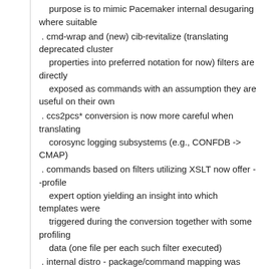purpose is to mimic Pacemaker internal desugaring where suitable
. cmd-wrap and (new) cib-revitalize (translating deprecated cluster properties into preferred notation for now) filters are directly exposed as commands with an assumption they are useful on their own
. ccs2pcs* conversion is now more careful when translating corosync logging subsystems (e.g., CONFDB -> CMAP)
. commands based on filters utilizing XSLT now offer --profile expert option yielding an insight into which templates were triggered during the conversion together with some profiling data (one file per each such filter executed)
. internal distro - package/command mapping was updated